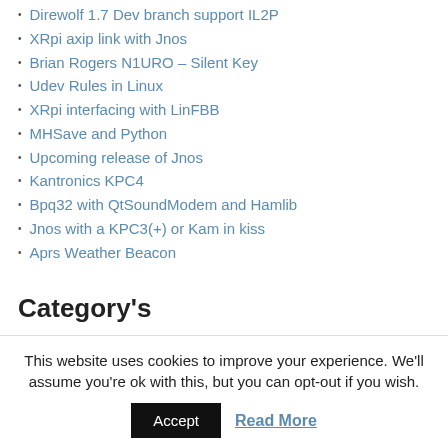Direwolf 1.7 Dev branch support IL2P
XRpi axip link with Jnos
Brian Rogers N1URO – Silent Key
Udev Rules in Linux
XRpi interfacing with LinFBB
MHSave and Python
Upcoming release of Jnos
Kantronics KPC4
Bpq32 with QtSoundModem and Hamlib
Jnos with a KPC3(+) or Kam in kiss
Aprs Weather Beacon
Category's
(X)net (11)
Ax25 (18)
This website uses cookies to improve your experience. We'll assume you're ok with this, but you can opt-out if you wish.